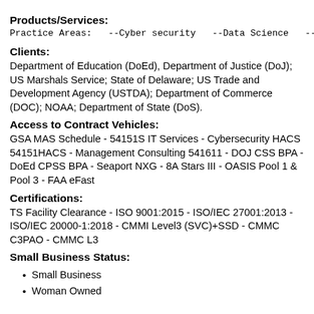Products/Services:
Practice Areas:   --Cyber security   --Data Science   --Tra…
Clients:
Department of Education (DoEd), Department of Justice (DoJ); US Marshals Service; State of Delaware; US Trade and Development Agency (USTDA); Department of Commerce (DOC); NOAA; Department of State (DoS).
Access to Contract Vehicles:
GSA MAS Schedule - 54151S IT Services - Cybersecurity HACS 54151HACS - Management Consulting 541611 - DOJ CSS BPA - DoEd CPSS BPA - Seaport NXG - 8A Stars III - OASIS Pool 1 & Pool 3 - FAA eFast
Certifications:
TS Facility Clearance - ISO 9001:2015 - ISO/IEC 27001:2013 - ISO/IEC 20000-1:2018 - CMMI Level3 (SVC)+SSD - CMMC C3PAO - CMMC L3
Small Business Status:
Small Business
Woman Owned